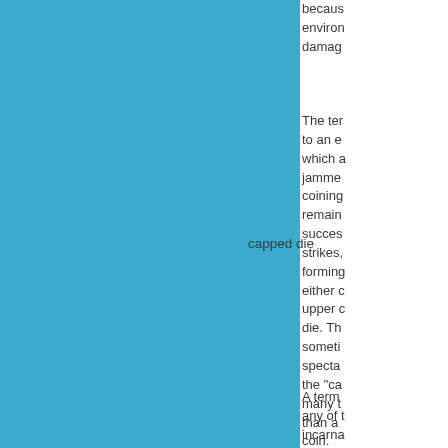[Figure (illustration): Blue rectangular panel occupying the left portion of the page]
because environm damag
The ter to an e which a jamme coining remain succes strikes, forming either c upper c die. Th someti specta the "ca many t than a coin.
capped die
A term any of t incarna